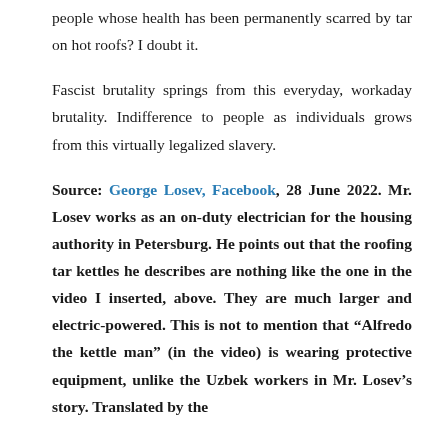people whose health has been permanently scarred by tar on hot roofs? I doubt it.
Fascist brutality springs from this everyday, workaday brutality. Indifference to people as individuals grows from this virtually legalized slavery.
Source: George Losev, Facebook, 28 June 2022. Mr. Losev works as an on-duty electrician for the housing authority in Petersburg. He points out that the roofing tar kettles he describes are nothing like the one in the video I inserted, above. They are much larger and electric-powered. This is not to mention that “Alfredo the kettle man” (in the video) is wearing protective equipment, unlike the Uzbek workers in Mr. Losev’s story. Translated by the